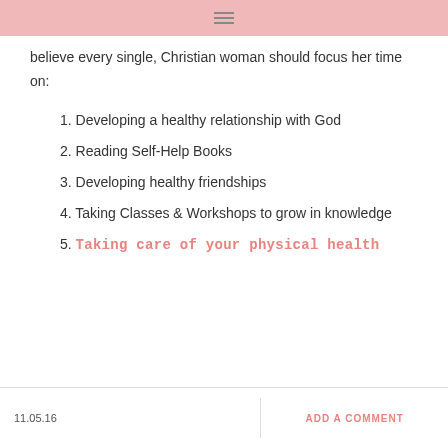≡
believe every single, Christian woman should focus her time on:
1. Developing a healthy relationship with God
2. Reading Self-Help Books
3. Developing healthy friendships
4. Taking Classes & Workshops to grow in knowledge
5. Taking care of your physical health
11.05.16   ADD A COMMENT